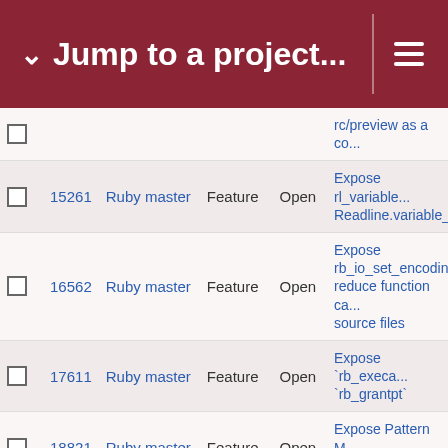Jump to a project...
|  | # | Project | Type | Status | Subject |
| --- | --- | --- | --- | --- | --- |
|  |  | Ruby master |  |  | rc/preview as a co... |
|  | 15261 | Ruby master | Feature | Open | Expose rl_variable... Readline.variable_... |
|  | 16562 | Ruby master | Feature | Open | Expose rb_io_set_encodin... reduce function ca... source files |
|  | 17611 | Ruby master | Feature | Open | Expose `rb_execa... `rb_grantpt` |
|  | 18821 | Ruby master | Feature | Open | Expose Pattern M... in core classes |
|  | 14896 | Ruby master | Feature | Open | Expose Net::HTTP... socket for integrat... expecting an IO |
|  | 8598 | Ruby master | Feature | Open | Expose informatio... timezone offset ha... set on DateTime c... |
|  | 17660 | Ruby master | Feature | Open | Expose informatio... basic methods ha... |
|  | 18568 | Ruby master | Feature | Open | Explore lazy Ruby... reduce need for --... |
|  |  |  |  |  | Expanded API for... |